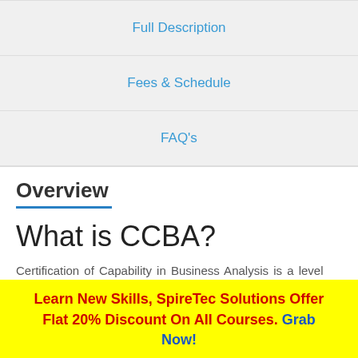Full Description
Fees & Schedule
FAQ's
Overview
What is CCBA?
Certification of Capability in Business Analysis is a level two training of a framework established by the International Institute of Business Analysis™
Learn New Skills, SpireTec Solutions Offer Flat 20% Discount On All Courses. Grab Now!